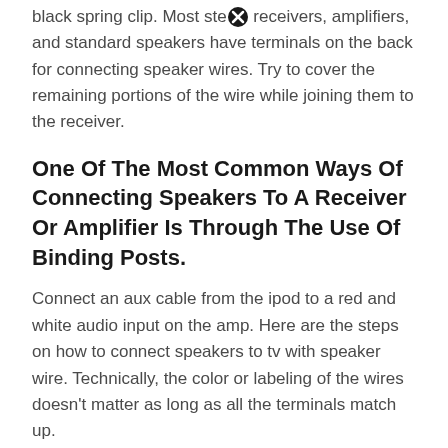black spring clip. Most ste⊗ receivers, amplifiers, and standard speakers have terminals on the back for connecting speaker wires. Try to cover the remaining portions of the wire while joining them to the receiver.
One Of The Most Common Ways Of Connecting Speakers To A Receiver Or Amplifier Is Through The Use Of Binding Posts.
Connect an aux cable from the ipod to a red and white audio input on the amp. Here are the steps on how to connect speakers to tv with speaker wire. Technically, the color or labeling of the wires doesn't matter as long as all the terminals match up.